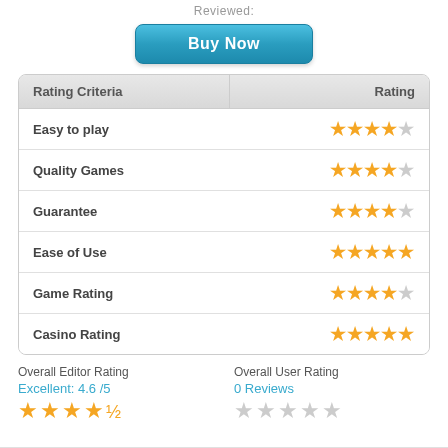Reviewed:
Buy Now
| Rating Criteria | Rating |
| --- | --- |
| Easy to play | ★★★★½ |
| Quality Games | ★★★★½ |
| Guarantee | ★★★★½ |
| Ease of Use | ★★★★★ |
| Game Rating | ★★★★½ |
| Casino Rating | ★★★★★ |
Overall Editor Rating
Excellent: 4.6 /5
Overall User Rating
0 Reviews